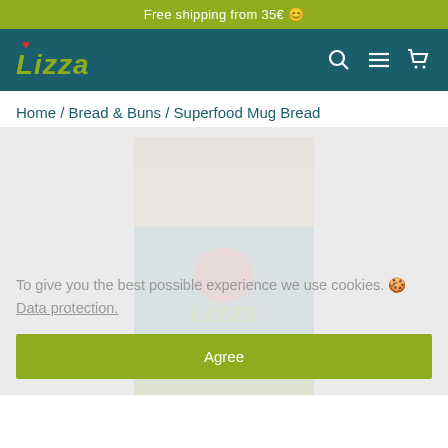Free shipping from 35€ 🙂
[Figure (logo): Lizza brand logo with red heart above, green italic text on dark teal navigation bar with search, menu, and cart icons]
Home / Bread & Buns / Superfood Mug Bread
[Figure (photo): Lizza Superfood Mug Bread product package — kraft paper bag with blue and green Lizza branding, LOW CARB label, SUPERFOOD text at bottom]
To give you the best possible experience we use cookies. 🍪 Data protection.
Agree